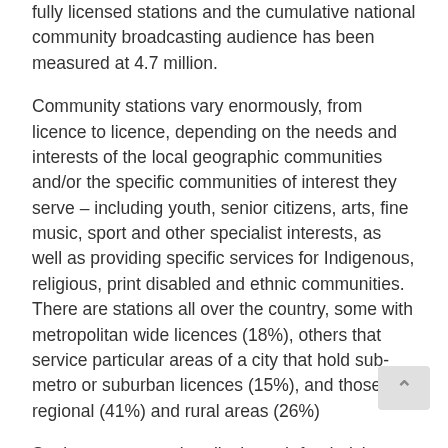fully licensed stations and the cumulative national community broadcasting audience has been measured at 4.7 million.
Community stations vary enormously, from licence to licence, depending on the needs and interests of the local geographic communities and/or the specific communities of interest they serve – including youth, senior citizens, arts, fine music, sport and other specialist interests, as well as providing specific services for Indigenous, religious, print disabled and ethnic communities. There are stations all over the country, some with metropolitan wide licences (18%), others that service particular areas of a city that hold sub-metro or suburban licences (15%), and those in regional (41%) and rural areas (26%)
Stations operate primarily through fundraising, sponsorship, subscription, program access and limited federal funding support provided through the Community Broadcasting Foundation (CBF).